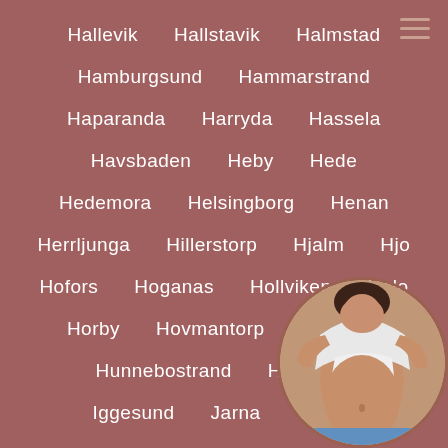Hallevik   Hallstavik   Halmstad
Hamburgsund   Hammarstrand
Haparanda   Harryda   Hassela
Havsbaden   Heby   Hede
Hedemora   Helsingborg   Henan
Herrljunga   Hillerstorp   Hjalm   Hjo
Hofors   Hoganas   Hollviken   Holo
Horby   Hovmantorp   Hultafors
Hunnebostrand   Hyltebruk
Iggesund   Jarna   Jarvso
[Figure (photo): Circular cropped photo of a person lifting their shirt, showing midriff, overlaid in bottom-right corner]